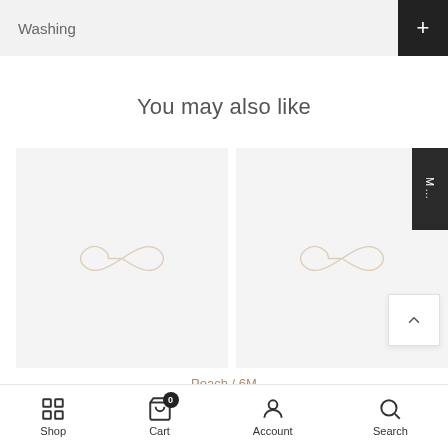Washing
You may also like
[Figure (logo): Two product cards with infinity logo watermark on light grey background]
Peach / 6M
- 1 +
ADD TO CART
Shop  Cart  Account  Search